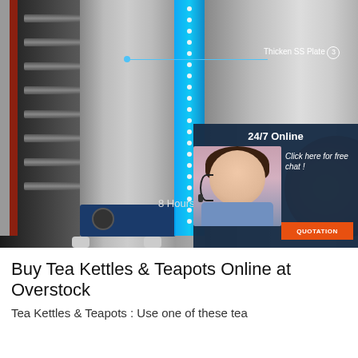[Figure (photo): Industrial food warmer / sterilizer equipment with blue LED strip and stainless steel panel, annotated with 'Thicken SS Plate (3)'. An overlaid chat widget shows '24/7 Online', a customer service agent photo, 'Click here for free chat!', and a 'QUOTATION' button. Text '8 Hours W...' visible at bottom of image.]
Buy Tea Kettles & Teapots Online at Overstock
Tea Kettles & Teapots : Use one of these tea